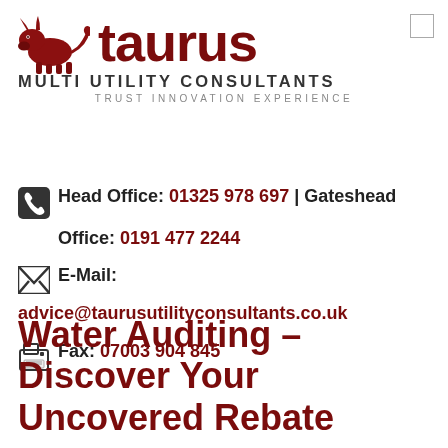[Figure (logo): Taurus Multi Utility Consultants logo with bull icon and text. Tagline: Trust Innovation Experience]
Head Office: 01325 978 697 | Gateshead Office: 0191 477 2244
E-Mail: advice@taurusutilityconsultants.co.uk
Fax: 07003 904 845
Water Auditing – Discover Your Uncovered Rebate